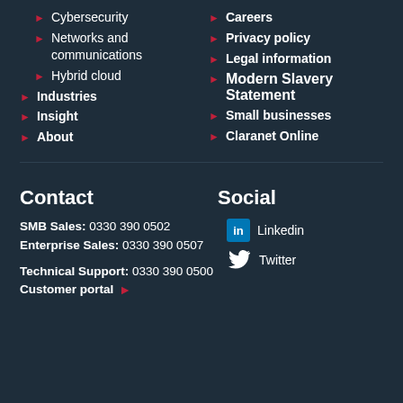▶ Cybersecurity
▶ Networks and communications
▶ Hybrid cloud
▶ Industries
▶ Insight
▶ About
▶ Careers
▶ Privacy policy
▶ Legal information
▶ Modern Slavery Statement
▶ Small businesses
▶ Claranet Online
Contact
SMB Sales: 0330 390 0502
Enterprise Sales: 0330 390 0507
Technical Support: 0330 390 0500
Customer portal ▶
Social
Linkedin
Twitter